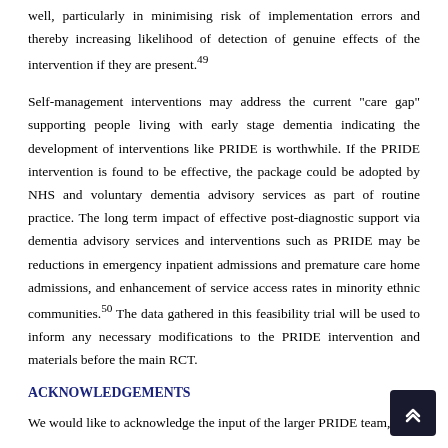well, particularly in minimising risk of implementation errors and thereby increasing likelihood of detection of genuine effects of the intervention if they are present.49
Self-management interventions may address the current "care gap" supporting people living with early stage dementia indicating the development of interventions like PRIDE is worthwhile. If the PRIDE intervention is found to be effective, the package could be adopted by NHS and voluntary dementia advisory services as part of routine practice. The long term impact of effective post-diagnostic support via dementia advisory services and interventions such as PRIDE may be reductions in emergency inpatient admissions and premature care home admissions, and enhancement of service access rates in minority ethnic communities.50 The data gathered in this feasibility trial will be used to inform any necessary modifications to the PRIDE intervention and materials before the main RCT.
ACKNOWLEDGEMENTS
We would like to acknowledge the input of the larger PRIDE team, and